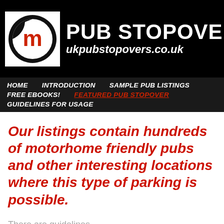[Figure (logo): Pub Stopovers website header banner with circular M logo on white background and site title 'PUB STOPOVERS' and URL 'ukpubstopovers.co.uk' in white text on black background]
HOME   INTRODUCTION   SAMPLE PUB LISTINGS   FREE EBOOKS!   FEATURED PUB STOPOVER   GUIDELINES FOR USAGE
Our listings contain hundreds of motorhome friendly pubs and other interesting locations where this type of parking is possible.
There are guidelines that members are